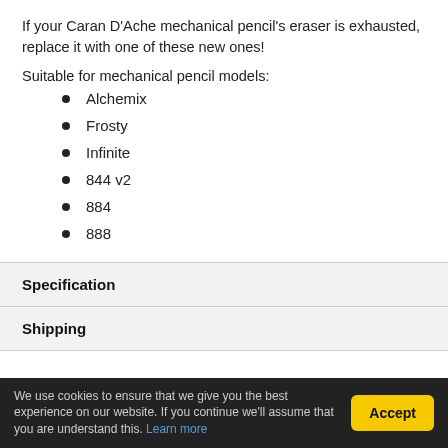If your Caran D'Ache mechanical pencil's eraser is exhausted, replace it with one of these new ones!
Suitable for mechanical pencil models:
Alchemix
Frosty
Infinite
844 v2
884
888
Specification
Shipping
We use cookies to ensure that we give you the best experience on our website. If you continue we'll assume that you are understand this. Learn more